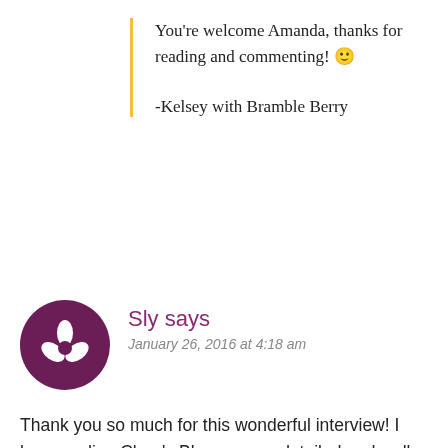You’re welcome Amanda, thanks for reading and commenting! 🙂
-Kelsey with Bramble Berry
[Figure (illustration): Dark purple circular avatar with a white flower/leaf icon (three petals) in the center]
Sly says
January 26, 2016 at 4:18 am
Thank you so much for this wonderful interview! I love reading Clara’s Blogs – very detailed and well thought out. I am good at being long-winded, but also precise…in this fast pace world, thoroughness gets left out a lot. But not in Clara’s blogs, which it what I love. (I feel like I’ve found a bit of a soul mate in her writing.)